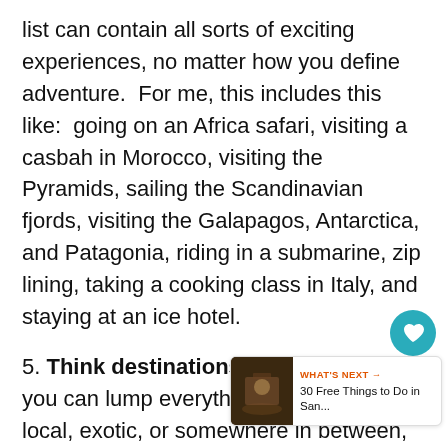list can contain all sorts of exciting experiences, no matter how you define adventure.  For me, this includes this like:  going on an Africa safari, visiting a casbah in Morocco, visiting the Pyramids, sailing the Scandinavian fjords, visiting the Galapagos, Antarctica, and Patagonia, riding in a submarine, zip lining, taking a cooking class in Italy, and staying at an ice hotel.
5. Think destinations.  This is where you can lump everything else.  Whether local, exotic, or somewhere in between, start making a list of general places that you want to visit and worry about filling in the specifics later.  Think of it as mind mapping with a real map.  Here’s a small sampling of what’s on this part of my list:  London (and no, I’ve never been there), Malta (has been on the list for years and years), Tunisia, Morocco, South Africa, Chile, Buenos Aires, Thailand, Florida Keys, Egypt, Iceland (another entry that